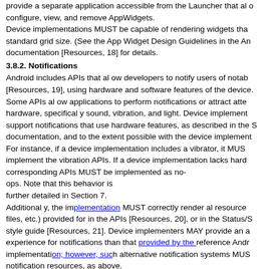provide a separate application accessible from the Launcher that al ow configure, view, and remove AppWidgets. Device implementations MUST be capable of rendering widgets that standard grid size. (See the App Widget Design Guidelines in the An documentation [Resources, 18] for details.
3.8.2. Notifications
Android includes APIs that al ow developers to notify users of notab [Resources, 19], using hardware and software features of the device. Some APIs al ow applications to perform notifications or attract atte hardware, specifical y sound, vibration, and light. Device implement support notifications that use hardware features, as described in the S documentation, and to the extent possible with the device implement For instance, if a device implementation includes a vibrator, it MUS implement the vibration APIs. If a device implementation lacks hard corresponding APIs MUST be implemented as no-ops. Note that this behavior is further detailed in Section 7. Additionally, the implementation MUST correctly render al resource files, etc.) provided for in the APIs [Resources, 20], or in the Status/S style guide [Resources, 21]. Device implementers MAY provide an a experience for notifications than that provided by the reference Andr implementation on; however, such alternative notification systems MUS notification resources, as above. Android 4.1 includes support for rich notifications, such as interactiv ongoing notifications. Device implementations MUST properly displ